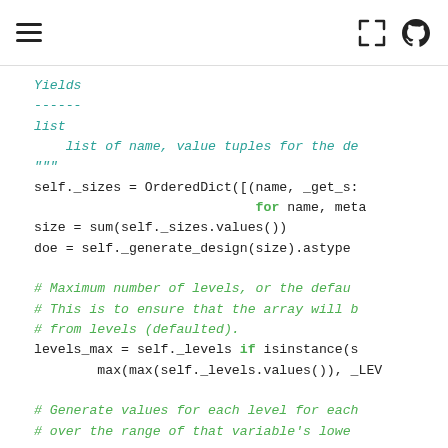[hamburger menu icon] [expand icon] [github icon]
Yields
------
list
    list of name, value tuples for the de
"""
self._sizes = OrderedDict([(name, _get_s:
                            for name, meta
size = sum(self._sizes.values())
doe = self._generate_design(size).astype(

# Maximum number of levels, or the defau
# This is to ensure that the array will be
# from levels (defaulted).
levels_max = self._levels if isinstance(s
        max(max(self._levels.values()), _LEV

# Generate values for each level for each
# over the range of that variable's lowe

# rows = vars (# rows/var = var size), co
values = np.empty((size, levels_max))  #
values[:] = np.nan  # and fill with NaNs